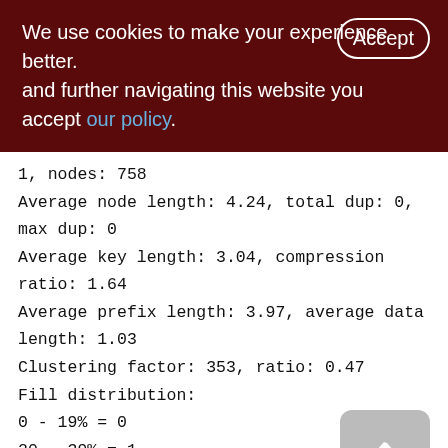We use cookies to make your experience better. By accepting and further navigating this website you accept our policy.
1, nodes: 758
Average node length: 4.24, total dup: 0, max dup: 0
Average key length: 3.04, compression ratio: 1.64
Average prefix length: 3.97, average data length: 1.03
Clustering factor: 353, ratio: 0.47
Fill distribution:
0 - 19% = 0
20 - 39% = 1
40 - 59% = 0
60 - 79% = 0